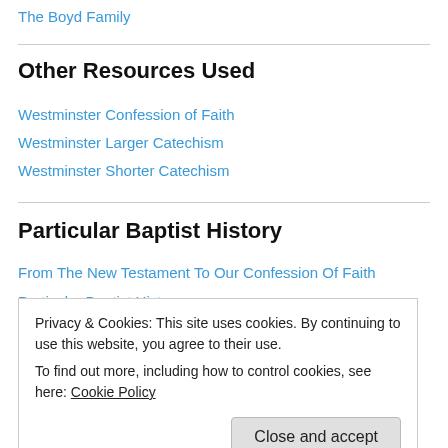The Boyd Family
Other Resources Used
Westminster Confession of Faith
Westminster Larger Catechism
Westminster Shorter Catechism
Particular Baptist History
From The New Testament To Our Confession Of Faith
Particular Baptist History
Privacy & Cookies: This site uses cookies. By continuing to use this website, you agree to their use. To find out more, including how to control cookies, see here: Cookie Policy
Arthur W. Pink